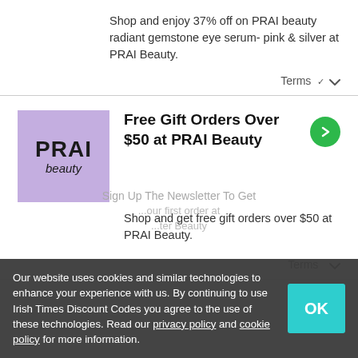Shop and enjoy 37% off on PRAI beauty radiant gemstone eye serum- pink & silver at PRAI Beauty.
Terms ∨
Free Gift Orders Over $50 at PRAI Beauty
Shop and get free gift orders over $50 at PRAI Beauty.
Terms ∨
Sign Up The Newsletter To Get ... at PRAI Beauty
Our website uses cookies and similar technologies to enhance your experience with us. By continuing to use Irish Times Discount Codes you agree to the use of these technologies. Read our privacy policy and cookie policy for more information.